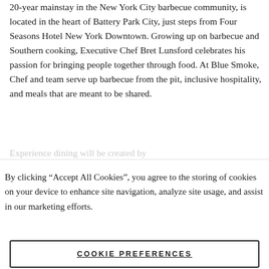20-year mainstay in the New York City barbecue community, is located in the heart of Battery Park City, just steps from Four Seasons Hotel New York Downtown. Growing up on barbecue and Southern cooking, Executive Chef Bret Lunsford celebrates his passion for bringing people together through food. At Blue Smoke, Chef and team serve up barbecue from the pit, inclusive hospitality, and meals that are meant to be shared.
By clicking “Accept All Cookies”, you agree to the storing of cookies on your device to enhance site navigation, analyze site usage, and assist in our marketing efforts.
COOKIE PREFERENCES